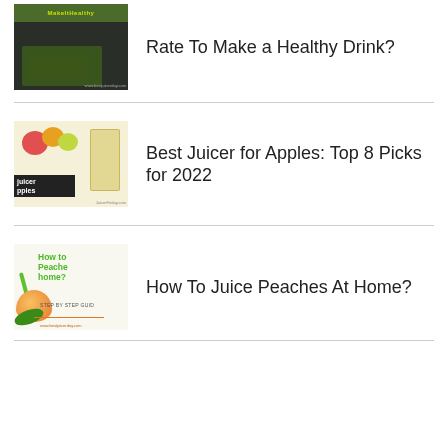[Figure (photo): Dark chalkboard background with green herbs/kale, article thumbnail image]
Rate To Make a Healthy Drink?
[Figure (photo): Juicer with apples and a glass of apple juice, article thumbnail image]
Best Juicer for Apples: Top 8 Picks for 2022
[Figure (photo): How to Juice Peaches at home infographic with peach fruit and green straw]
How To Juice Peaches At Home?